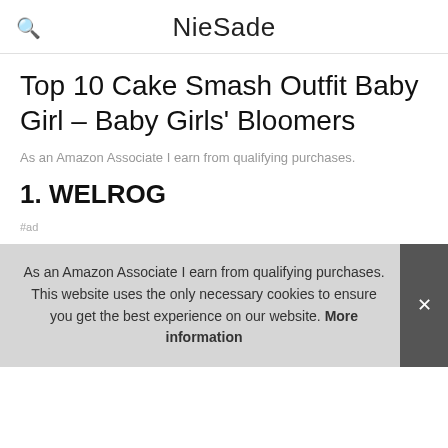NieSade
Top 10 Cake Smash Outfit Baby Girl – Baby Girls' Bloomers
As an Amazon Associate I earn from qualifying purchases.
1. WELROG
#ad
As an Amazon Associate I earn from qualifying purchases. This website uses the only necessary cookies to ensure you get the best experience on our website. More information